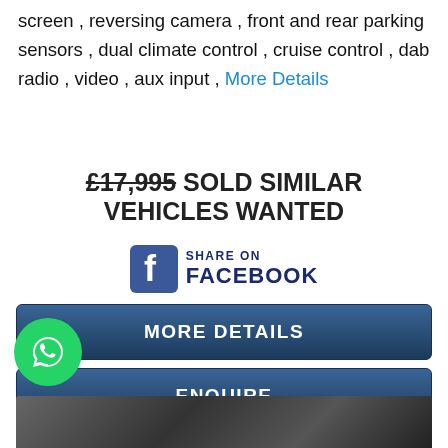screen , reversing camera , front and rear parking sensors , dual climate control , cruise control , dab radio , video , aux input , More Details
£17,995 SOLD SIMILAR VEHICLES WANTED
[Figure (logo): Share on Facebook button with Facebook logo icon]
[Figure (other): MORE DETAILS button (dark blue)]
[Figure (other): ENQUIRE button (dark blue)]
[Figure (other): PART EXCHANGE button (dark blue)]
[Figure (other): APPLY FOR FINANCE button (dark blue)]
[Figure (other): WhatsApp chat button (green circle)]
[Figure (photo): Partial car photo at bottom of page]